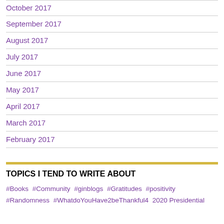October 2017
September 2017
August 2017
July 2017
June 2017
May 2017
April 2017
March 2017
February 2017
TOPICS I TEND TO WRITE ABOUT
#Books  #Community  #ginblogs  #Gratitudes  #positivity  #Randomness  #WhatdoYouHave2beThankful4  2020 Presidential